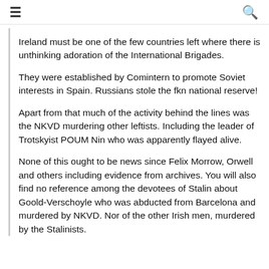≡  🔍
Ireland must be one of the few countries left where there is unthinking adoration of the International Brigades.
They were established by Comintern to promote Soviet interests in Spain. Russians stole the fkn national reserve!
Apart from that much of the activity behind the lines was the NKVD murdering other leftists. Including the leader of Trotskyist POUM Nin who was apparently flayed alive.
None of this ought to be news since Felix Morrow, Orwell and others including evidence from archives. You will also find no reference among the devotees of Stalin about Goold-Verschoyle who was abducted from Barcelona and murdered by NKVD. Nor of the other Irish men, murdered by the Stalinists.